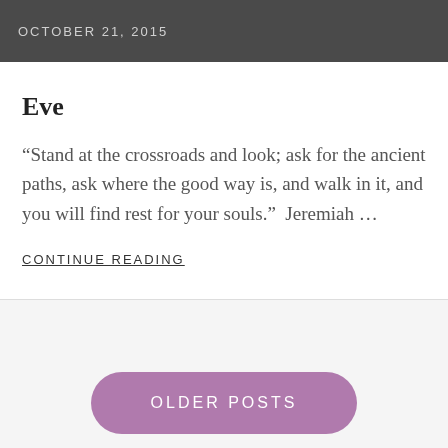OCTOBER 21, 2015
Eve
“Stand at the crossroads and look; ask for the ancient paths, ask where the good way is, and walk in it, and you will find rest for your souls.”  Jeremiah …
CONTINUE READING
OLDER POSTS